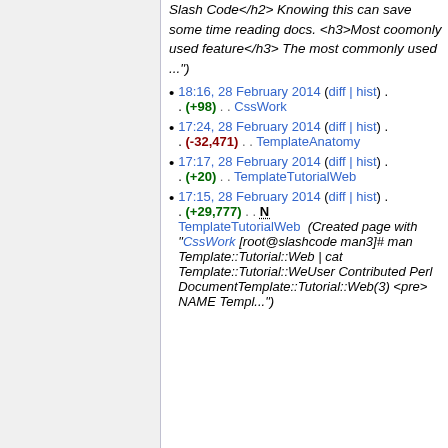Slash Code</h2> Knowing this can save some time reading docs. <h3>Most coomonly used feature</h3> The most commonly used ...")
18:16, 28 February 2014 (diff | hist) . . (+98) . . CssWork
17:24, 28 February 2014 (diff | hist) . . (-32,471) . . TemplateAnatomy
17:17, 28 February 2014 (diff | hist) . . (+20) . . TemplateTutorialWeb
17:15, 28 February 2014 (diff | hist) . . (+29,777) . . N TemplateTutorialWeb (Created page with "CssWork [root@slashcode man3]# man Template::Tutorial::Web | cat Template::Tutorial::WeUser Contributed Perl DocumentTemplate::Tutorial::Web(3) <pre> NAME Templ...")